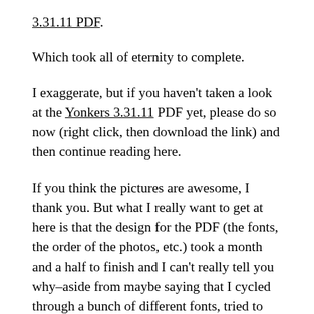3.31.11 PDF.
Which took all of eternity to complete.
I exaggerate, but if you haven't taken a look at the Yonkers 3.31.11 PDF yet, please do so now (right click, then download the link) and then continue reading here.
If you think the pictures are awesome, I thank you. But what I really want to get at here is that the design for the PDF (the fonts, the order of the photos, etc.) took a month and a half to finish and I can't really tell you why–aside from maybe saying that I cycled through a bunch of different fonts, tried to make a different logo, and tackled a bunch of other completely absent concerns that had the project spinning in limbo for way longer than it should've been (and, of course, spending an hour a night with it [and sometimes no